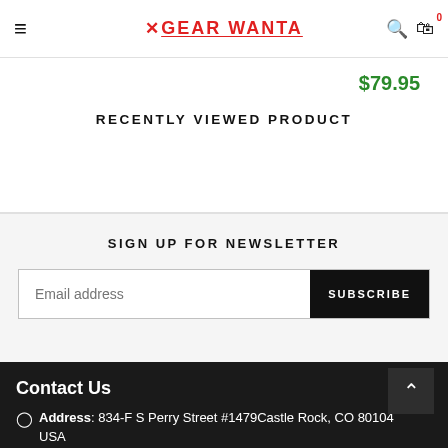≡  ✕GEAR WANTA  🔍 🛍 0
$79.95
RECENTLY VIEWED PRODUCT
SIGN UP FOR NEWSLETTER
Email address  SUBSCRIBE
Contact Us  Address: 834-F S Perry Street #1479Castle Rock, CO 80104 USA